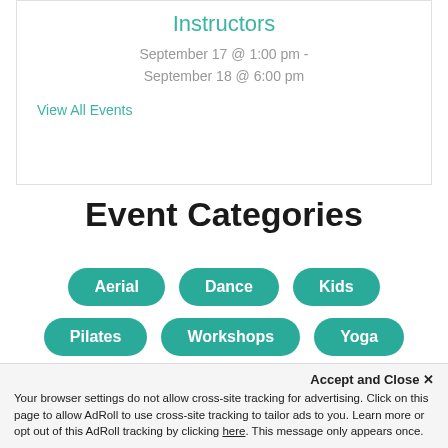Instructors
September 17 @ 1:00 pm - September 18 @ 6:00 pm
View All Events
Event Categories
Aerial
Dance
Kids
Pilates
Workshops
Yoga
Accept and Close ✕ Your browser settings do not allow cross-site tracking for advertising. Click on this page to allow AdRoll to use cross-site tracking to tailor ads to you. Learn more or opt out of this AdRoll tracking by clicking here. This message only appears once.